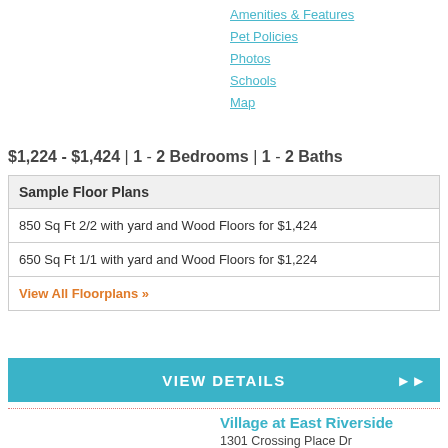Amenities & Features
Pet Policies
Photos
Schools
Map
$1,224 - $1,424 | 1 - 2 Bedrooms | 1 - 2 Baths
| Sample Floor Plans |
| --- |
| 850 Sq Ft 2/2 with yard and Wood Floors for $1,424 |
| 650 Sq Ft 1/1 with yard and Wood Floors for $1,224 |
| View All Floorplans » |
VIEW DETAILS
Village at East Riverside
1301 Crossing Place Dr
Austin, TX 78741
Preiss Company
Amenities & Features
Pet Policies
Photos
Schools